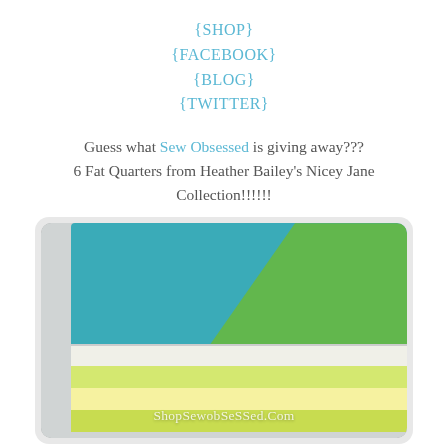{SHOP}
{FACEBOOK}
{BLOG}
{TWITTER}
Guess what Sew Obsessed is giving away???
6 Fat Quarters from Heather Bailey's Nicey Jane Collection!!!!!!
[Figure (photo): Stack of folded fat quarters in teal, green, and yellow floral and striped fabrics from Heather Bailey's Nicey Jane Collection. Watermark reads ShopSewobSeSSed.Com]
[Figure (photo): Second image showing more fat quarters fanned out, partially visible at bottom of page]